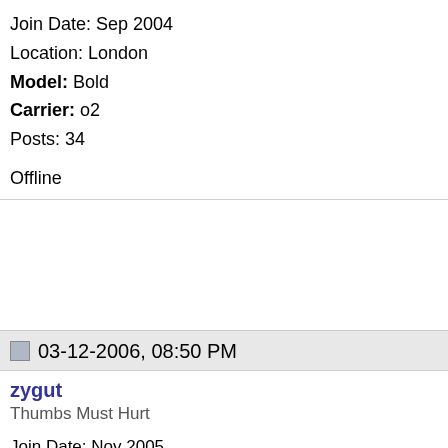Join Date: Sep 2004
Location: London
Model: Bold
Carrier: o2
Posts: 34

Offline
03-12-2006, 08:50 PM
zygut
Thumbs Must Hurt

Join Date: Nov 2005
Model: none
Posts: 57